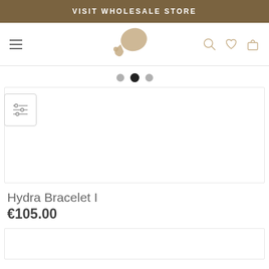VISIT WHOLESALE STORE
[Figure (logo): Website navigation bar with hamburger menu, brand logo (teardrop/pebble shape with dot), search icon, heart/wishlist icon, and bag/cart icon]
[Figure (other): Carousel pagination dots: three dots, second one (middle) is active/filled dark]
[Figure (other): Filter/sliders icon in a small bordered box on the left side]
[Figure (photo): Large white product image area for bracelet product (empty/white space shown)]
Hydra Bracelet I
€105.00
[Figure (other): Bottom content box, white area partially visible at bottom of page]